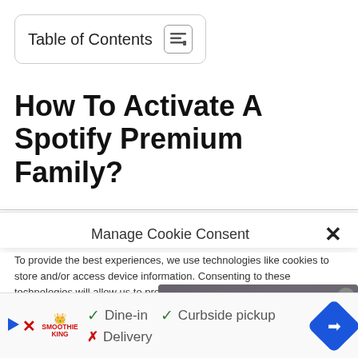Table of Contents
How To Activate A Spotify Premium Family?
Manage Cookie Consent
To provide the best experiences, we use technologies like cookies to store and/or access device information. Consenting to these technologies will allow us to process data such as browsing behavior or unique IDs on this site. Not consenting or withdrawing consent, may adversely affect certain features and functions.
[Figure (screenshot): Video player showing error: No compatible source was found for this media, overlaid on a background image with FIXED ERROR text]
[Figure (infographic): Advertisement banner for Smoothie King showing Dine-in with checkmark, Curbside pickup with checkmark, Delivery with X mark, and a navigation arrow icon]